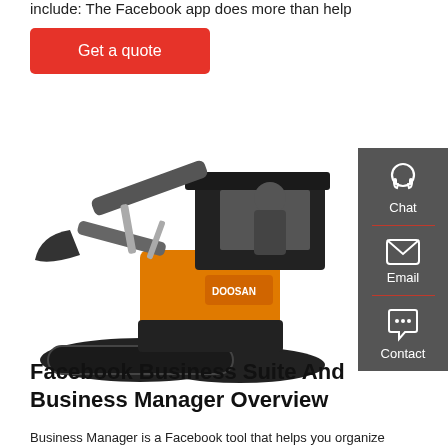include: The Facebook app does more than help
Get a quote
[Figure (photo): Orange and black Doosan mini excavator with a person seated in the operator cab, viewed from a slight angle showing the bucket arm and tracked undercarriage.]
Facebook Business Suite And Business Manager Overview
Business Manager is a Facebook tool that helps you organize